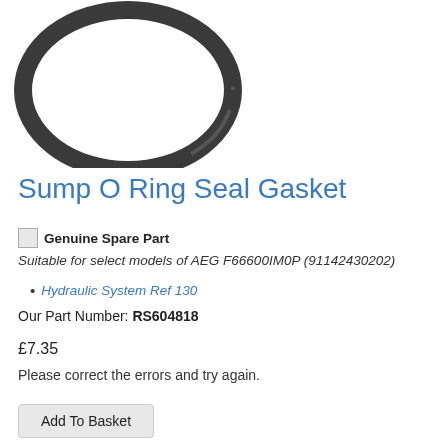[Figure (photo): An O-ring seal gasket (circular rubber ring) shown on white background, viewed from a slight angle showing the ring shape with dark grey/black color]
Sump O Ring Seal Gasket
Genuine Spare Part (badge icon with text)
Suitable for select models of AEG F66600IM0P (91142430202)
Hydraulic System Ref 130
Our Part Number: RS604818
£7.35
Please correct the errors and try again.
Add To Basket